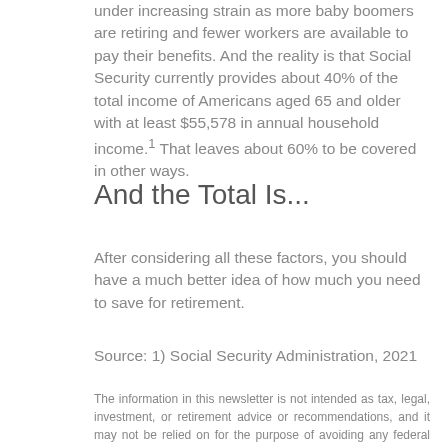under increasing strain as more baby boomers are retiring and fewer workers are available to pay their benefits. And the reality is that Social Security currently provides about 40% of the total income of Americans aged 65 and older with at least $55,578 in annual household income.¹ That leaves about 60% to be covered in other ways.
And the Total Is...
After considering all these factors, you should have a much better idea of how much you need to save for retirement.
Source: 1) Social Security Administration, 2021
The information in this newsletter is not intended as tax, legal, investment, or retirement advice or recommendations, and it may not be relied on for the purpose of avoiding any federal tax